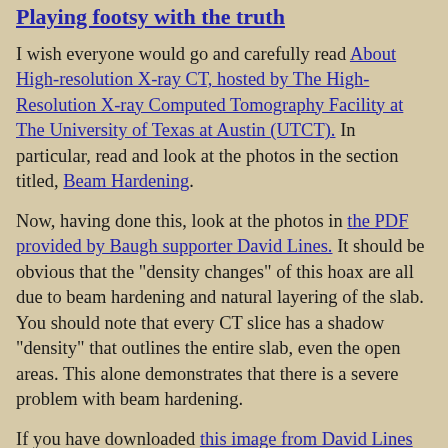Playing footsy with the truth
I wish everyone would go and carefully read About High-resolution X-ray CT, hosted by The High-Resolution X-ray Computed Tomography Facility at The University of Texas at Austin (UTCT). In particular, read and look at the photos in the section titled, Beam Hardening.
Now, having done this, look at the photos in the PDF provided by Baugh supporter David Lines. It should be obvious that the "density changes" of this hoax are all due to beam hardening and natural layering of the slab. You should note that every CT slice has a shadow "density" that outlines the entire slab, even the open areas. This alone demonstrates that there is a severe problem with beam hardening.
If you have downloaded this image from David Lines you will see the natural layering of the slab, and that this was not disturbed by the tons of pressure supposedly applied by the "dinosaur" or the supposedly "human" foot prints. In fact, these multiple layers run unaltered through both "foot prints." If you look at the David Lines photo he labled "Toe Detail"